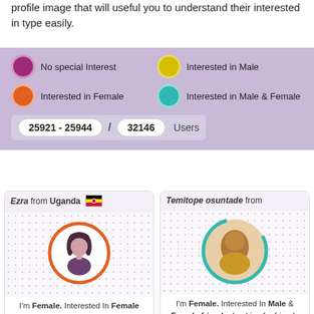profile image that will useful you to understand their interested in type easily.
[Figure (infographic): Legend panel showing interest type color codes: purple dot = No special Interest, yellow dot = Interested in Male, orange dot = Interested in Female, teal dot = Interested in Male & Female. Pagination: 25921-25944 / 32146 Users]
[Figure (infographic): User card for Ezra from Uganda with orange ring avatar (female illustrated), text: I'm Female. Interested In Female friends. Looking for chat, foreign contacts. View Profile button.]
[Figure (infographic): User card for Temitope osuntade from (country cut off) with teal ring avatar (photo of woman), text: I'm Female. Interested In Male & Female friends. Looking for friends. View Profile button.]